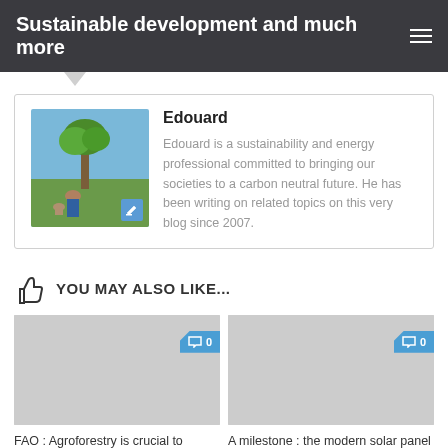Sustainable development and much more
Edouard
Edouard is a sustainability and energy professional committed to bringing our societies to a carbon neutral future. He has been writing on related topics on this very blog since 2007.
YOU MAY ALSO LIKE...
FAO : Agroforestry is crucial to ensure food security
A milestone : the modern solar panel is 60 years old